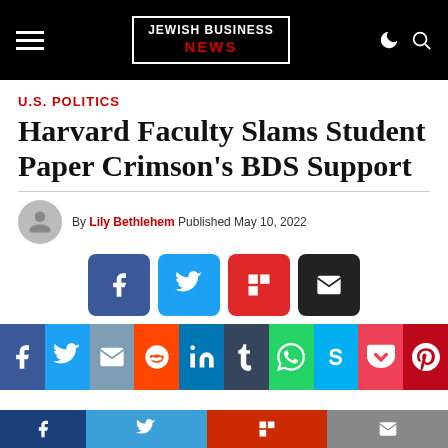JEWISH BUSINESS NEWS
U.S. POLITICS
Harvard Faculty Slams Student Paper Crimson's BDS Support
By Lily Bethlehem Published May 10, 2022
[Figure (infographic): Social media share buttons: Facebook, Twitter, Flipboard, Email (top row); Facebook, Twitter, Email, Reddit, LinkedIn, Tumblr, WhatsApp, Skype, Pocket, Pinterest (bottom row); and a sticky bottom bar with Facebook, Twitter, Flipboard, Email buttons.]